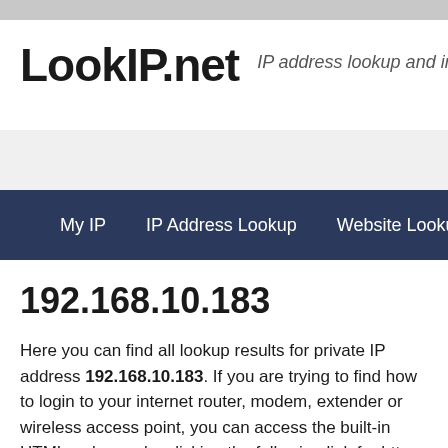LookIP.net — IP address lookup and information too
Home | My IP | IP Address Lookup | Website Lookup
192.168.10.183
Here you can find all lookup results for private IP address 192.168.10.183. If you are trying to find how to login to your internet router, modem, extender or wireless access point, you can access the built-in HTML webpage by clicking the following link for http or https.
The most used default username and password to gain access to the administrative interface is 'admin' or 'setup' and in case of a TP Link, Netgear or D-Link wireless (or Wi-Fi) router you can also find the default settings on the back of the device. If